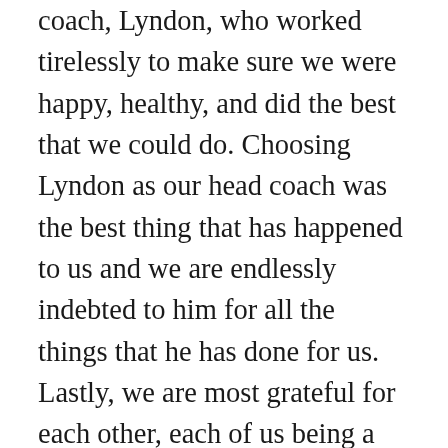coach, Lyndon, who worked tirelessly to make sure we were happy, healthy, and did the best that we could do.  Choosing Lyndon as our head coach was the best thing that has happened to us and we are endlessly indebted to him for all the things that he has done for us.  Lastly, we are most grateful for each other, each of us being a rock to support the other when we needed it the most.  April 27, 2015 was our first day skating together, and little did we know all the adventures, challenges, and great times we would have together.  Every step of the way has been truly amazing together, and we have truly found the meaning of the adage of the journey being more important than the destination; both of us know that there isn't a single person we'd rather have shared that journey with